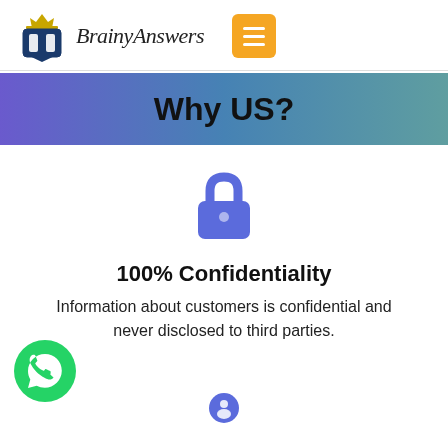BrainyAnswers
Why US?
[Figure (illustration): Blue padlock icon representing confidentiality]
100% Confidentiality
Information about customers is confidential and never disclosed to third parties.
[Figure (illustration): WhatsApp green circular button icon on bottom left]
[Figure (illustration): Blue circular icon partially visible at bottom center]